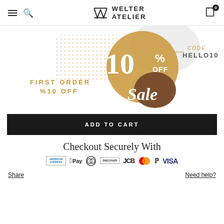WELTER ATELIER — navigation header with logo, hamburger menu, search, and cart
[Figure (infographic): Promotional banner: First Order %10 OFF sale, 10% OFF, Code HELLO10, with decorative dot and blob shapes in tan/brown/gold colors]
ADD TO CART
Checkout Securely With
[Figure (infographic): Payment method icons: American Express, Apple Pay, Diners Club, Discover, JCB, Mastercard, PayPal, VISA]
Share
Need help?